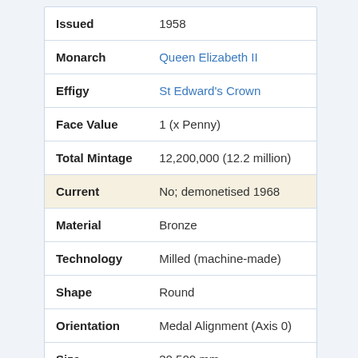| Property | Value |
| --- | --- |
| Issued | 1958 |
| Monarch | Queen Elizabeth II |
| Effigy | St Edward's Crown |
| Face Value | 1 (x Penny) |
| Total Mintage | 12,200,000 (12.2 million) |
| Current | No; demonetised 1968 |
| Material | Bronze |
| Technology | Milled (machine-made) |
| Shape | Round |
| Orientation | Medal Alignment (Axis 0) |
| Size | 30.500 mm |